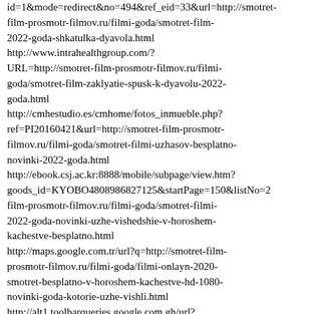id=1&mode=redirect&no=494&ref_eid=33&url=http://smotret-film-prosmotr-filmov.ru/filmi-goda/smotret-film-2022-goda-shkatulka-dyavola.html http://www.intrahealthgroup.com/?URL=http://smotret-film-prosmotr-filmov.ru/filmi-goda/smotret-film-zaklyatie-spusk-k-dyavolu-2022-goda.html http://cmhestudio.es/cmhome/fotos_inmueble.php?ref=PI20160421&url=http://smotret-film-prosmotr-filmov.ru/filmi-goda/smotret-filmi-uzhasov-besplatno-novinki-2022-goda.html http://ebook.csj.ac.kr:8888/mobile/subpage/view.htm?goods_id=KYOBO4808986827125&startPage=150&listNo=2film-prosmotr-filmov.ru/filmi-goda/smotret-filmi-2022-goda-novinki-uzhe-vishedshie-v-horoshem-kachestve-besplatno.html http://maps.google.com.tr/url?q=http://smotret-film-prosmotr-filmov.ru/filmi-goda/filmi-onlayn-2020-smotret-besplatno-v-horoshem-kachestve-hd-1080-novinki-goda-kotorie-uzhe-vishli.html http://alt1.toolbarqueries.google.com.gh/url?q=http://smotret-film-prosmotr-filmov.ru/filmi-goda/smotret-besplatno-rossiyskie-filmi-2022-goda-novinki.html http://www.martincreed.com/?URL=http://smotret-film-prosmotr-filmov.ru/filmi-goda/smotret-...